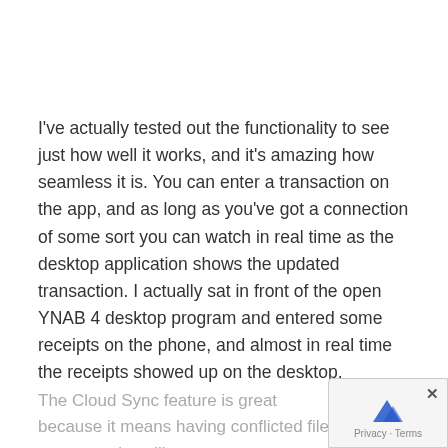I've actually tested out the functionality to see just how well it works, and it's amazing how seamless it is. You can enter a transaction on the app, and as long as you've got a connection of some sort you can watch in real time as the desktop application shows the updated transaction. I actually sat in front of the open YNAB 4 desktop program and entered some receipts on the phone, and almost in real time the receipts showed up on the desktop.
The Cloud Sync feature is great because it m... means having conflicted files or transactions like...